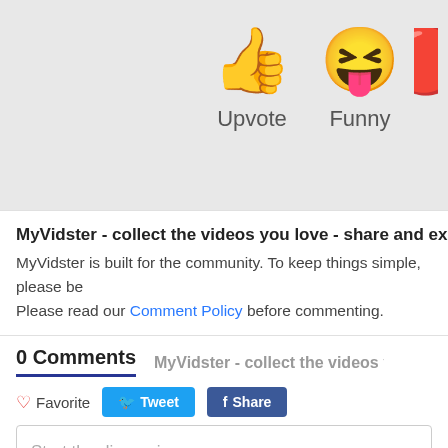[Figure (illustration): Thumbs up emoji (Upvote) and laughing face emoji (Funny) with labels, partially cropped red emoji on right edge]
MyVidster - collect the videos you love - share and explore!
MyVidster is built for the community. To keep things simple, please be... Please read our Comment Policy before commenting.
0 Comments   MyVidster - collect the videos you love - share...
♡ Favorite   🐦 Tweet   f Share
Start the discussion...
LOG IN WITH
OR SIGN UP WITH DISQUS ?
[Figure (logo): Social login icons: Disqus (D), Facebook (f), Twitter bird, Google (G)]
Name